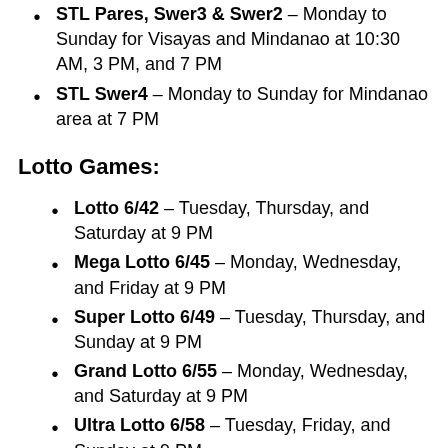STL Pares, Swer3 & Swer2 – Monday to Sunday for Visayas and Mindanao at 10:30 AM, 3 PM, and 7 PM
STL Swer4 – Monday to Sunday for Mindanao area at 7 PM
Lotto Games:
Lotto 6/42 – Tuesday, Thursday, and Saturday at 9 PM
Mega Lotto 6/45 – Monday, Wednesday, and Friday at 9 PM
Super Lotto 6/49 – Tuesday, Thursday, and Sunday at 9 PM
Grand Lotto 6/55 – Monday, Wednesday, and Saturday at 9 PM
Ultra Lotto 6/58 – Tuesday, Friday, and Sunday at 9 PM